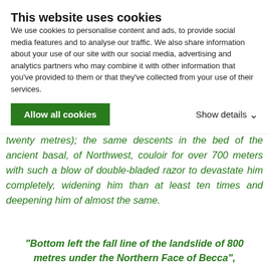This website uses cookies
We use cookies to personalise content and ads, to provide social media features and to analyse our traffic. We also share information about your use of our site with our social media, advertising and analytics partners who may combine it with other information that you've provided to them or that they've collected from your use of their services.
Allow all cookies | Show details
the 20 to the 30 centimeters and along less than about twenty metres); the same descents in the bed of the ancient basal, of Northwest, couloir for over 700 meters with such a blow of double-bladed razor to devastate him completely, widening him than at least ten times and deepening him of almost the same.
"Bottom left the fall line of the landslide of 800 metres under the Northern Face of Becca",